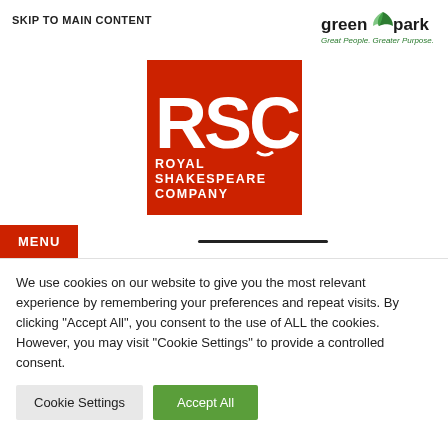SKIP TO MAIN CONTENT
[Figure (logo): Green Park logo with leaf icon and tagline 'Great People. Greater Purpose.']
[Figure (logo): RSC Royal Shakespeare Company logo — white RSC letters on red background with company name below]
MENU
We use cookies on our website to give you the most relevant experience by remembering your preferences and repeat visits. By clicking "Accept All", you consent to the use of ALL the cookies. However, you may visit "Cookie Settings" to provide a controlled consent.
Cookie Settings
Accept All